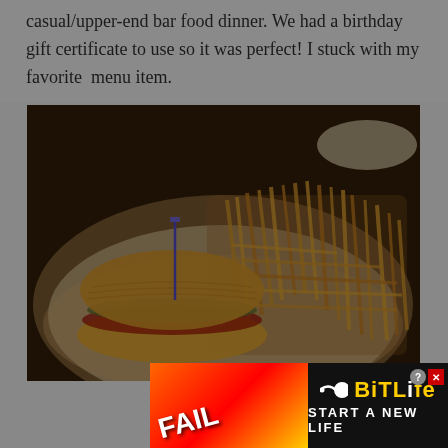casual/upper-end bar food dinner. We had a birthday gift certificate to use so it was perfect! I stuck with my favorite  menu item.
[Figure (photo): A basket of food showing a sandwich/burger with a toothpick, accompanied by a large portion of thin french fries, served in a white basket with paper liner. The image is dark/dim with warm brown tones.]
[Figure (other): BitLife advertisement banner with 'FAIL' text on orange/red gradient background, cartoon character, sperm icon, BitLife logo in yellow, and 'START A NEW LIFE' tagline on black background.]